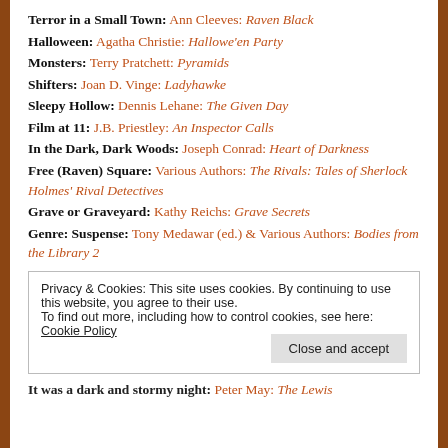Terror in a Small Town: Ann Cleeves: Raven Black
Halloween: Agatha Christie: Hallowe'en Party
Monsters: Terry Pratchett: Pyramids
Shifters: Joan D. Vinge: Ladyhawke
Sleepy Hollow: Dennis Lehane: The Given Day
Film at 11: J.B. Priestley: An Inspector Calls
In the Dark, Dark Woods: Joseph Conrad: Heart of Darkness
Free (Raven) Square: Various Authors: The Rivals: Tales of Sherlock Holmes' Rival Detectives
Grave or Graveyard: Kathy Reichs: Grave Secrets
Genre: Suspense: Tony Medawar (ed.) & Various Authors: Bodies from the Library 2
Privacy & Cookies: This site uses cookies. By continuing to use this website, you agree to their use.
To find out more, including how to control cookies, see here: Cookie Policy
It was a dark and stormy night: Peter May: The Lewis